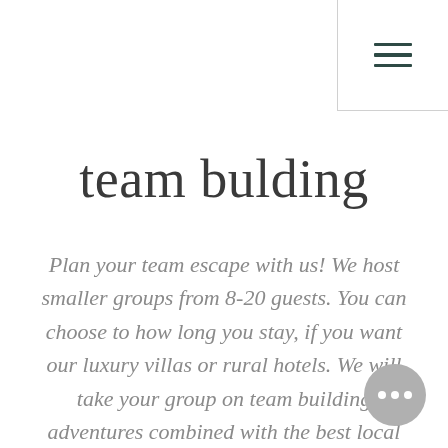≡ (hamburger menu icon)
team bulding
Plan your team escape with us! We host smaller groups from 8-20 guests. You can choose to how long you stay, if you want our luxury villas or rural hotels. We will take your group on team building adventures combined with the best local food and wine. We live in the area and know all the hidden spots! Contact us and we will tell you more.